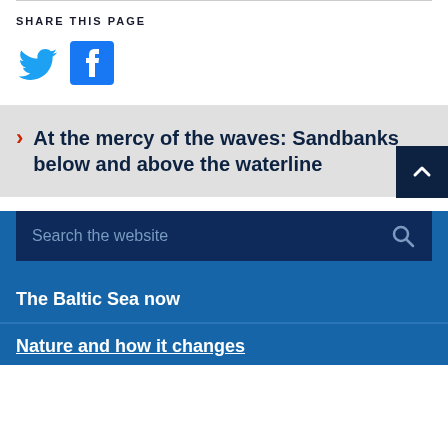SHARE THIS PAGE
[Figure (illustration): Twitter bird icon (blue) and Facebook logo icon (blue square with white f)]
At the mercy of the waves: Sandbanks below and above the waterline
Search the website
The Baltic Sea now
Nature and how it changes